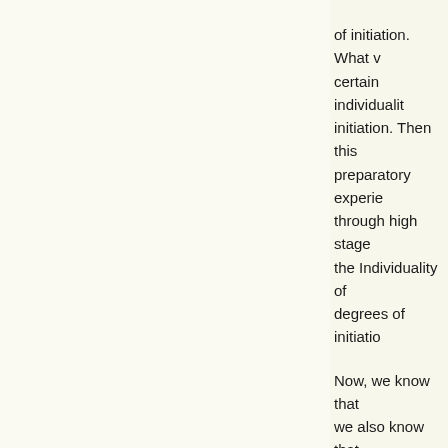of initiation. What certain individuality initiation. Then this preparatory experie through high stage the Individuality of degrees of initiatio
Now, we know that we also know that up to the seventh y then discarded, at t when the physical thrown off and the again only gradual
Having considered astral body in the f